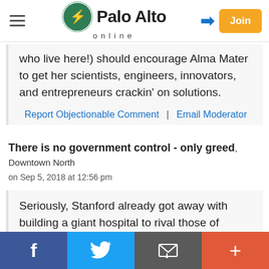Palo Alto online
who live here!) should encourage Alma Mater to get her scientists, engineers, innovators, and entrepreneurs crackin' on solutions.
Report Objectionable Comment | Email Moderator
There is no government control - only greed, Downtown North on Sep 5, 2018 at 12:56 pm
Seriously, Stanford already got away with building a giant hospital to rival those of UCLA and SF (both housed in large urban areas) and now apparently if no one stops them they will "reach for the skies" and build a high rise university crammed onto there spot of land.
Facebook | Twitter | Email | Plus